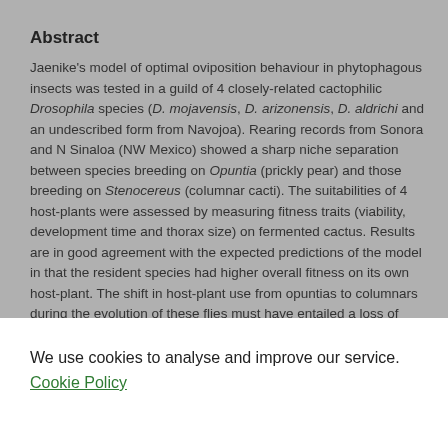Abstract
Jaenike's model of optimal oviposition behaviour in phytophagous insects was tested in a guild of 4 closely-related cactophilic Drosophila species (D. mojavensis, D. arizonensis, D. aldrichi and an undescribed form from Navojoa). Rearing records from Sonora and N Sinaloa (NW Mexico) showed a sharp niche separation between species breeding on Opuntia (prickly pear) and those breeding on Stenocereus (columnar cacti). The suitabilities of 4 host-plants were assessed by measuring fitness traits (viability, development time and thorax size) on fermented cactus. Results are in good agreement with the expected predictions of the model in that the resident species had higher overall fitness on its own host-plant. The shift in host-plant use from opuntias to columnars during the evolution of these flies must have entailed a loss of fitness which
We use cookies to analyse and improve our service. Cookie Policy